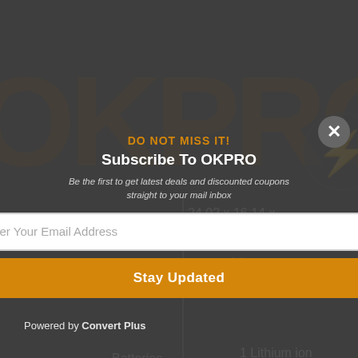[Figure (screenshot): E-commerce product page screenshot showing OKPRO brand logo in background, with a modal popup overlay for newsletter subscription. Background shows product specification table with package dimensions 24.02 x 16.14 x, Item model, Batteries section showing '1 Lithium ion batteries required.', Item Package Quantity 1, Style Garden. Modal contains email subscription form.]
DO NOT MISS IT!
Subscribe To OKPRO
Be the first to get latest deals and discounted coupons straight to your mail inbox
Enter Your Email Address
Stay Updated
Powered by Convert Plus